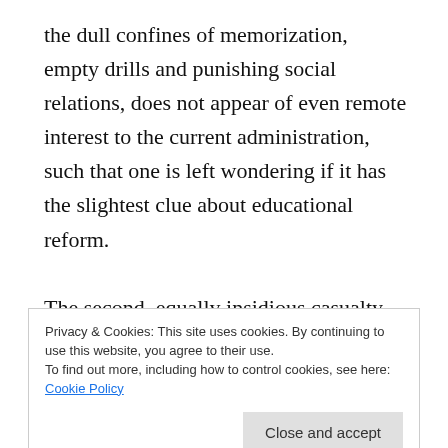the dull confines of memorization, empty drills and punishing social relations, does not appear of even remote interest to the current administration, such that one is left wondering if it has the slightest clue about educational reform.
The second, equally insidious casualty involves the skills and purpose of those who teach and foster critical thinking among young people. Continuing the educational legacy of the Bush/Cheney regime, Obama and Duncan seem intent on stripping teachers
Privacy & Cookies: This site uses cookies. By continuing to use this website, you agree to their use.
To find out more, including how to control cookies, see here: Cookie Policy
Close and accept
autonomy in the classroom leads inexorably to the